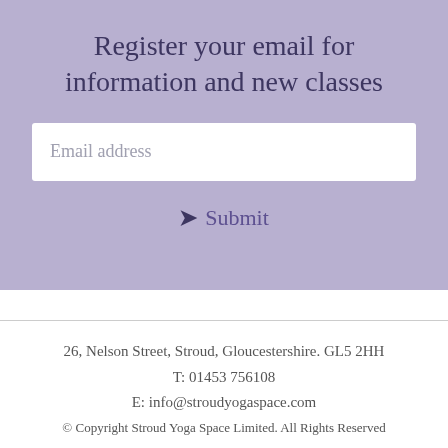Register your email for information and new classes
Email address
❯ Submit
26, Nelson Street, Stroud, Gloucestershire. GL5 2HH
T: 01453 756108
E: info@stroudyogaspace.com
© Copyright Stroud Yoga Space Limited. All Rights Reserved